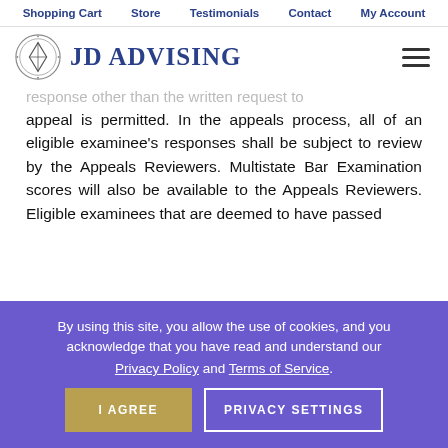Shopping Cart   Store   Testimonials   Contact   My Account
[Figure (logo): JD Advising logo with circular seal icon and text 'JD ADVISING']
response other than the written request to appeal is permitted. In the appeals process, all of an eligible examinee's responses shall be subject to review by the Appeals Reviewers. Multistate Bar Examination scores will also be available to the Appeals Reviewers. Eligible examinees that are deemed to have passed
By using this site, you allow the use of cookies, and you acknowledge that you have read and understand our Privacy Policy and Terms of Service.
I AGREE   PRIVACY SETTINGS